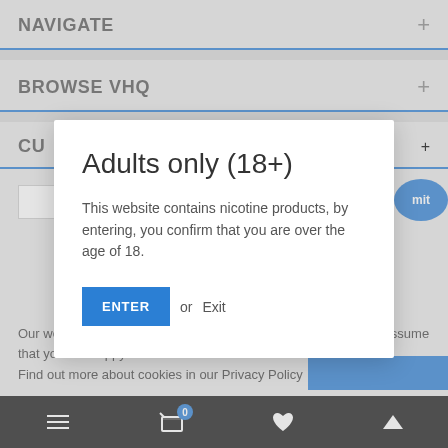NAVIGATE +
BROWSE VHQ +
CU +
Adults only (18+)
This website contains nicotine products, by entering, you confirm that you are over the age of 18.
ENTER or Exit
Our website use cookies. If you continue to use this site we will assume that you are happy with this.
Find out more about cookies in our Privacy Policy
≡  🛒 0  ♥  ∧